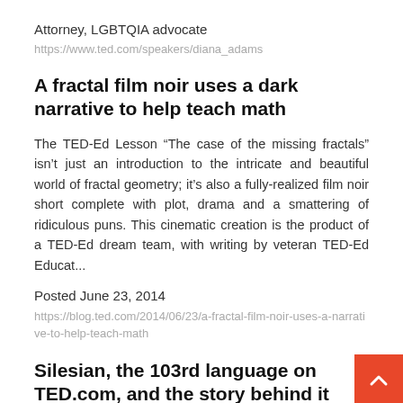Attorney, LGBTQIA advocate
https://www.ted.com/speakers/diana_adams
A fractal film noir uses a dark narrative to help teach math
The TED-Ed Lesson “The case of the missing fractals” isn’t just an introduction to the intricate and beautiful world of fractal geometry; it’s also a fully-realized film noir short complete with plot, drama and a smattering of ridiculous puns. This cinematic creation is the product of a TED-Ed dream team, with writing by veteran TED-Ed Educat...
Posted June 23, 2014
https://blog.ted.com/2014/06/23/a-fractal-film-noir-uses-a-narrative-to-help-teach-math
Silesian, the 103rd language on TED.com, and the story behind it
By Krystian Aparta, as told to Kate Torgovnick Silesian is a language spoken by about 500,000 people in a region of